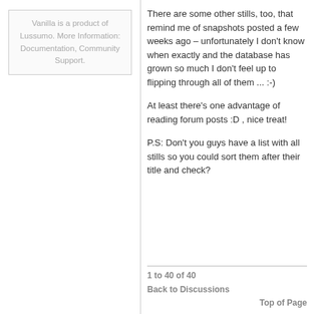Vanilla is a product of Lussumo. More Information: Documentation, Community Support.
There are some other stills, too, that remind me of snapshots posted a few weeks ago – unfortunately I don't know when exactly and the database has grown so much I don't feel up to flipping through all of them ... :-)
At least there's one advantage of reading forum posts :D , nice treat!
P.S: Don't you guys have a list with all stills so you could sort them after their title and check?
1 to 40 of 40
Back to Discussions
Top of Page